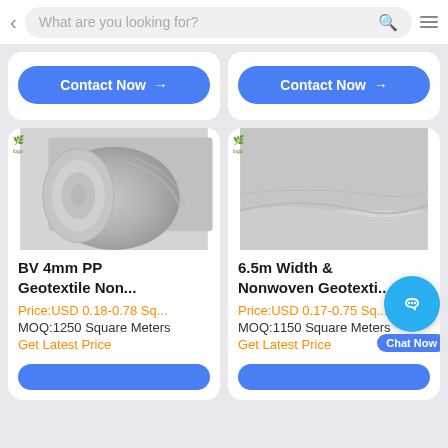What are you looking for?
Contact Now →
Contact Now →
[Figure (photo): Rolled grey geotextile nonwoven fabric product photo]
BV 4mm PP Geotextile Non...
Price:USD 0.18-0.78 Sq...
MOQ:1250 Square Meters
Get Latest Price
[Figure (photo): Folded grey nonwoven geotextile fabric product photo]
6.5m Width & Nonwoven Geotexti...
Price:USD 0.17-0.75 Sq...
MOQ:1150 Square Meters
Get Latest Price
Chat Now